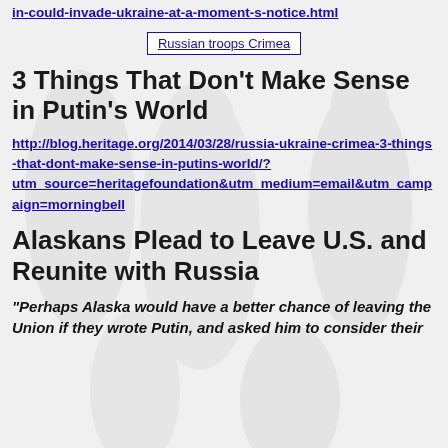in-could-invade-ukraine-at-a-moment-s-notice.html
[Figure (photo): Russian troops Crimea — image placeholder shown as linked text with border]
3 Things That Don’t Make Sense in Putin’s World
http://blog.heritage.org/2014/03/28/russia-ukraine-crimea-3-things-that-dont-make-sense-in-putins-world/?utm_source=heritagefoundation&utm_medium=email&utm_campaign=morningbell
Alaskans Plead to Leave U.S. and Reunite with Russia
“Perhaps Alaska would have a better chance of leaving the Union if they wrote Putin, and asked him to consider their